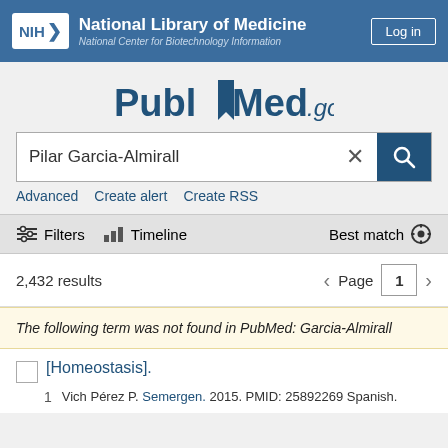NIH National Library of Medicine National Center for Biotechnology Information  Log in
[Figure (logo): PubMed.gov logo with bookmark icon between Publ and Med]
Pilar Garcia-Almirall
Advanced  Create alert  Create RSS
Filters  Timeline  Best match
2,432 results  Page 1
The following term was not found in PubMed: Garcia-Almirall
[Homeostasis].
Vich Pérez P. Semergen. 2015. PMID: 25892269 Spanish.